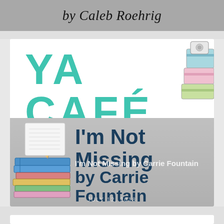by Caleb Roehrig
[Figure (illustration): YA Cafe logo banner with teal bold text 'YA CAFÉ', pink italic script 'Read · Listen · Engage', and illustrated books on the right side]
[Figure (illustration): Book banner with dark teal text 'I'm Not Missing' and 'by Carrie Fountain' on gray gradient background with illustrated book stack on left, overlay text 'I'm Not Missing by Carrie Fountain' and date 'JULY 12, 2018']
I'm Not Missing by Carrie Fountain
JULY 12, 2018